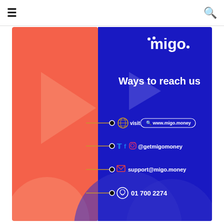☰  🔍
[Figure (infographic): Migo brand contact card with coral left panel (play button, arch) and navy right panel showing 'Ways to reach us' with four contact methods: website (www.migo.money), social media (@getmigomoney), email (support@migo.money), and phone (01 700 2274). Migo logo in top right of navy panel.]